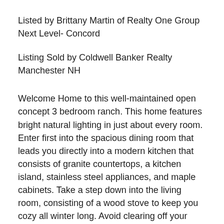Listed by Brittany Martin of Realty One Group Next Level- Concord
Listing Sold by Coldwell Banker Realty Manchester NH
Welcome Home to this well-maintained open concept 3 bedroom ranch. This home features bright natural lighting in just about every room. Enter first into the spacious dining room that leads you directly into a modern kitchen that consists of granite countertops, a kitchen island, stainless steel appliances, and maple cabinets. Take a step down into the living room, consisting of a wood stove to keep you cozy all winter long. Avoid clearing off your cars in the snowy winters with an attached 3 car garage that is heated and contains ample amounts of storage as well as a workshop. Spend your summers soaking up the sun and entertaining right